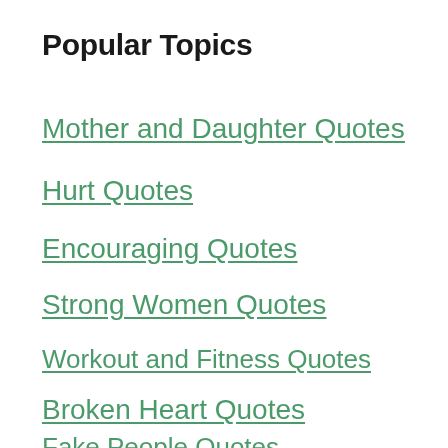Popular Topics
Mother and Daughter Quotes
Hurt Quotes
Encouraging Quotes
Strong Women Quotes
Workout and Fitness Quotes
Broken Heart Quotes
Fake People Quotes
Brother Quotes